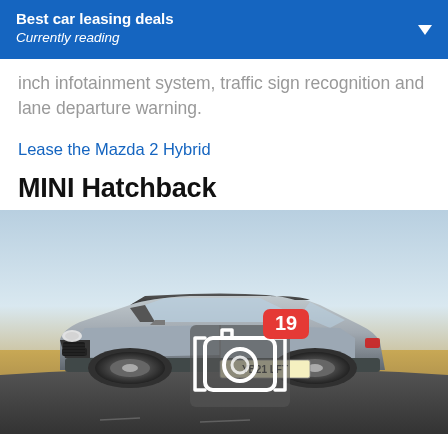Best car leasing deals
Currently reading
inch infotainment system, traffic sign recognition and lane departure warning.
Lease the Mazda 2 Hybrid
MINI Hatchback
[Figure (photo): Photo of a grey MINI Hatchback car (registration YB21 LFT) driving on a road with a desert/arid landscape background. A camera icon overlay with a red badge showing '19' indicating 19 photos is overlaid on the image.]